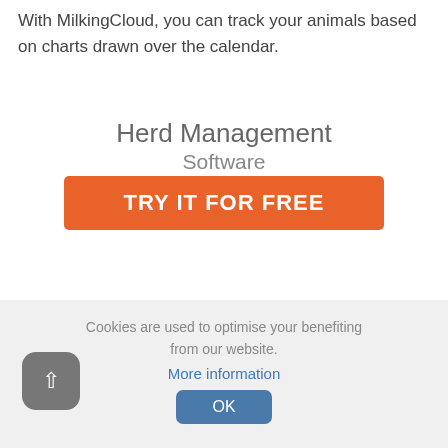With MilkingCloud, you can track your animals based on charts drawn over the calendar.
Herd Management Software
[Figure (other): Orange call-to-action button reading 'TRY IT FOR FREE']
[Figure (screenshot): Video thumbnail with dark background, blue robot icon, and text 'How Could You Add ...' with a three-dot menu icon]
Cookies are used to optimise your benefiting from our website.
More information
[Figure (other): OK button in steel blue, and a scroll-to-top button on lower left]